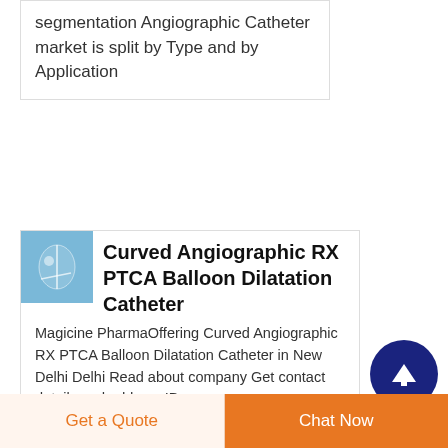segmentation Angiographic Catheter market is split by Type and by Application
[Figure (photo): Small product image of curved angiographic catheter]
Curved Angiographic RX PTCA Balloon Dilatation Catheter
Magicine PharmaOffering Curved Angiographic RX PTCA Balloon Dilatation Catheter in New Delhi Delhi Read about company Get contact details and address ID
Get a Quote
Chat Now